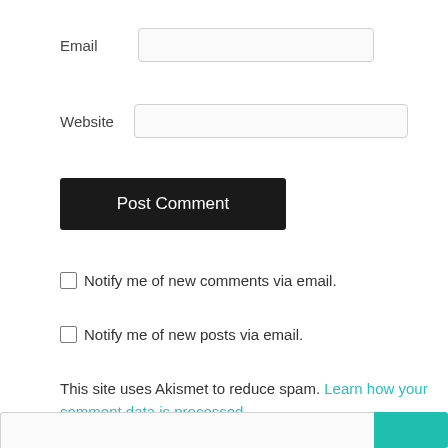Email
Website
Post Comment
Notify me of new comments via email.
Notify me of new posts via email.
This site uses Akismet to reduce spam. Learn how your comment data is processed.